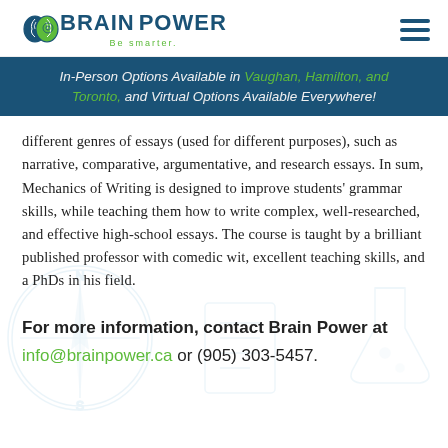BRAIN POWER - Be smarter.
In-Person Options Available in Vaughan, Hamilton, and Toronto, and Virtual Options Available Everywhere!
different genres of essays (used for different purposes), such as narrative, comparative, argumentative, and research essays. In sum, Mechanics of Writing is designed to improve students' grammar skills, while teaching them how to write complex, well-researched, and effective high-school essays. The course is taught by a brilliant published professor with comedic wit, excellent teaching skills, and a PhDs in his field.
For more information, contact Brain Power at info@brainpower.ca or (905) 303-5457.